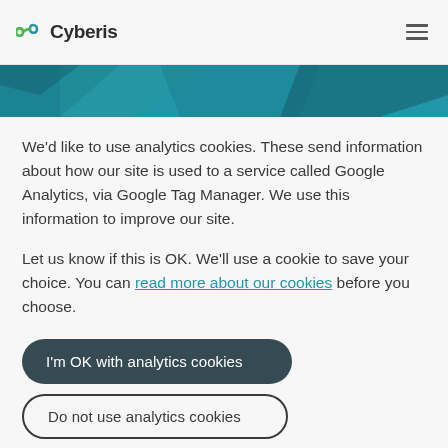Cyberis
[Figure (illustration): Teal/dark teal geometric polygon banner image]
We'd like to use analytics cookies. These send information about how our site is used to a service called Google Analytics, via Google Tag Manager. We use this information to improve our site.
Let us know if this is OK. We'll use a cookie to save your choice. You can read more about our cookies before you choose.
I'm OK with analytics cookies
Do not use analytics cookies